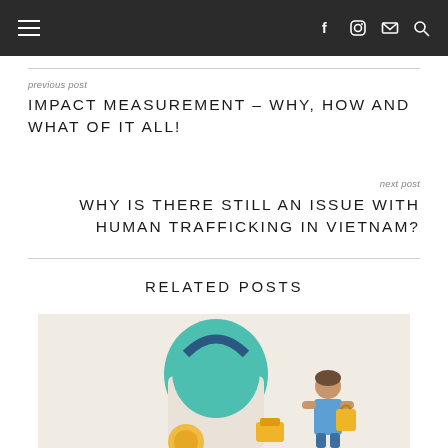≡  f  ⊙  ✉  🔍
previous post
IMPACT MEASUREMENT – WHY, HOW AND WHAT OF IT ALL!
next post
WHY IS THERE STILL AN ISSUE WITH HUMAN TRAFFICKING IN VIETNAM?
RELATED POSTS
[Figure (illustration): Illustration of a person with shopping bags, featuring teal and navy colored bags on a light beige background]